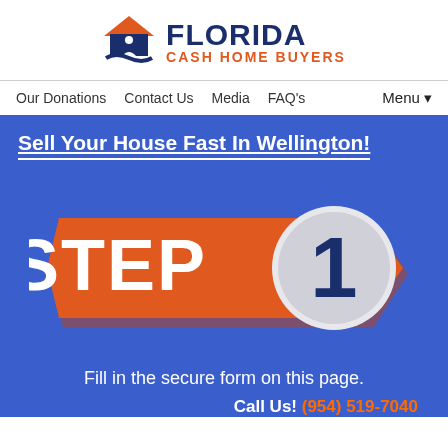[Figure (logo): Florida Cash Home Buyers logo with house icon and person, orange and dark blue colors]
Our Donations   Contact Us   Media   FAQ's   Menu▼
Sell Your House Fast In Wellington!
[Figure (infographic): Orange arrow/chevron badge with white text STEP and a circular badge with number 1]
Fill in the secure form on this page.
Call Us! (954) 519-7040